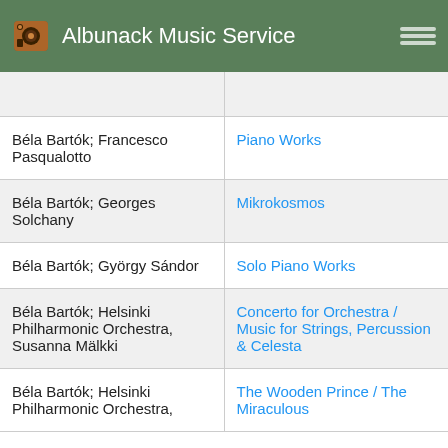Albunack Music Service
| Artist | Album |
| --- | --- |
|  |  |
| Béla Bartók; Francesco Pasqualotto | Piano Works |
| Béla Bartók; Georges Solchany | Mikrokosmos |
| Béla Bartók; György Sándor | Solo Piano Works |
| Béla Bartók; Helsinki Philharmonic Orchestra, Susanna Mälkki | Concerto for Orchestra / Music for Strings, Percussion & Celesta |
| Béla Bartók; Helsinki Philharmonic Orchestra, | The Wooden Prince / The Miraculous |